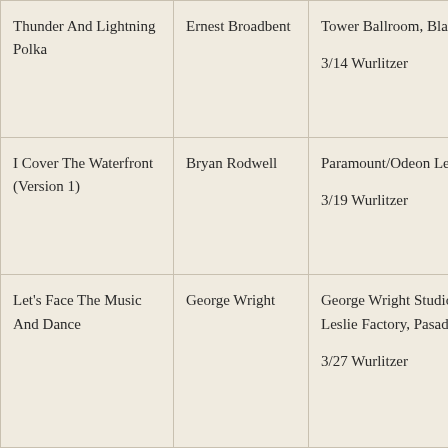| Thunder And Lightning Polka | Ernest Broadbent | Tower Ballroom, Blackpool
3/14 Wurlitzer |
| I Cover The Waterfront (Version 1) | Bryan Rodwell | Paramount/Odeon Leeds
3/19 Wurlitzer |
| Let's Face The Music And Dance | George Wright | George Wright Studio Organ, Leslie Factory, Pasadena CA
3/27 Wurlitzer |